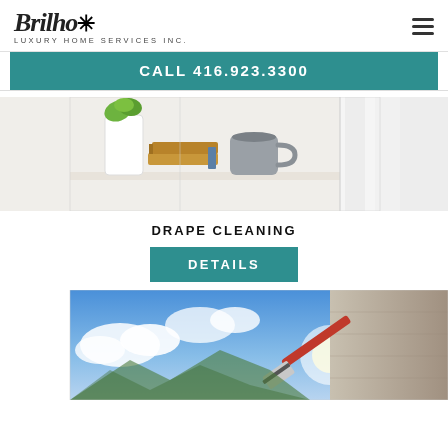[Figure (logo): Brilho* Luxury Home Services Inc. logo with hamburger menu icon]
CALL 416.923.3300
[Figure (photo): Photo of a white vase with plant, a grey mug on books, and white curtains – drape cleaning service]
DRAPE CLEANING
DETAILS
[Figure (photo): Photo of window cleaning with squeegee against a blue sky background]